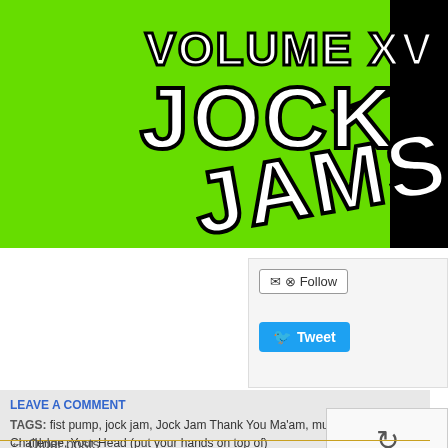[Figure (illustration): Album cover for 'Volume XV Jock Jams' with large white text on bright green background and a black silhouette of a person on the right side]
[Figure (screenshot): Follow button with email and RSS icons, and a Tweet button in blue]
LEAVE A COMMENT
TAGS: fist pump, jock jam, Jock Jam Thank You Ma'am, music, pumpe Challenge, Your Head (put your hands on top of)
← Older posts